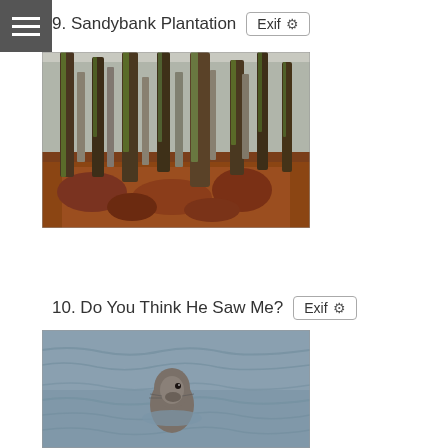Menu icon (hamburger)
9. Sandybank Plantation
[Figure (photo): Forest scene with tall pine trees, green moss on trunks, and reddish-brown ferns on the ground]
10. Do You Think He Saw Me?
[Figure (photo): A seal (grey/brown) poking its head above blue-grey water, looking upward]